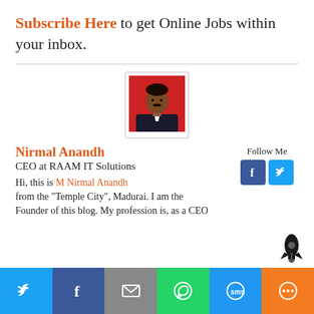Subscribe Here to get Online Jobs within your inbox.
[Figure (photo): Portrait photo of Nirmal Anandh against a red background]
Nirmal Anandh
CEO at RAAM IT Solutions
Hi, this is M Nirmal Anandh from the "Temple City", Madurai. I am the Founder of this blog. My profession is, as a CEO
[Figure (infographic): Social share bar with Twitter, Facebook, Email, WhatsApp, SMS, and More buttons]